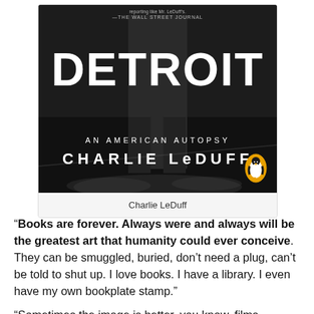[Figure (photo): Book cover of 'Detroit: An American Autopsy' by Charlie LeDuff, published by Penguin. Black and white image showing a person's lower body standing on a road. Large white bold text reads DETROIT, below that AN AMERICAN AUTOPSY, then CHARLIE LeDUFF. Penguin logo bottom right. A quote reference to The Wall Street Journal appears at top.]
Charlie LeDuff
“Books are forever. Always were and always will be the greatest art that humanity could ever conceive. They can be smuggled, buried, don’t need a plug, can’t be told to shut up. I love books. I have a library. I even have my own bookplate stamp.”
“Sometimes the image is better, you know, films,